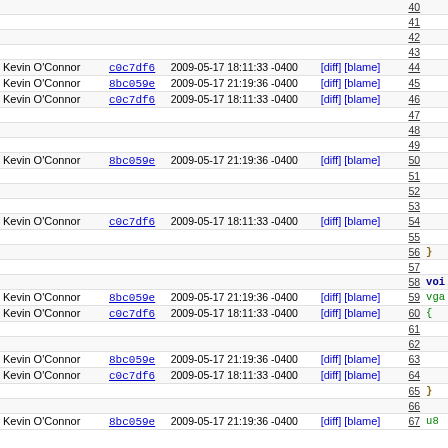| Author | Hash | Date | Links | Line | Code |
| --- | --- | --- | --- | --- | --- |
|  |  |  |  | 41 |  |
|  |  |  |  | 42 |  |
|  |  |  |  | 43 |  |
| Kevin O'Connor | c0c7df6 | 2009-05-17 18:11:33 -0400 | [diff] [blame] | 44 |  |
| Kevin O'Connor | 8bc059e | 2009-05-17 21:19:36 -0400 | [diff] [blame] | 45 |  |
| Kevin O'Connor | c0c7df6 | 2009-05-17 18:11:33 -0400 | [diff] [blame] | 46 |  |
|  |  |  |  | 47 |  |
|  |  |  |  | 48 |  |
|  |  |  |  | 49 |  |
| Kevin O'Connor | 8bc059e | 2009-05-17 21:19:36 -0400 | [diff] [blame] | 50 |  |
|  |  |  |  | 51 |  |
|  |  |  |  | 52 |  |
|  |  |  |  | 53 |  |
| Kevin O'Connor | c0c7df6 | 2009-05-17 18:11:33 -0400 | [diff] [blame] | 54 |  |
|  |  |  |  | 55 |  |
|  |  |  |  | 56 | } |
|  |  |  |  | 57 |  |
|  |  |  |  | 58 | voi |
| Kevin O'Connor | 8bc059e | 2009-05-17 21:19:36 -0400 | [diff] [blame] | 59 | vga |
| Kevin O'Connor | c0c7df6 | 2009-05-17 18:11:33 -0400 | [diff] [blame] | 60 | { |
|  |  |  |  | 61 |  |
|  |  |  |  | 62 |  |
| Kevin O'Connor | 8bc059e | 2009-05-17 21:19:36 -0400 | [diff] [blame] | 63 |  |
| Kevin O'Connor | c0c7df6 | 2009-05-17 18:11:33 -0400 | [diff] [blame] | 64 |  |
|  |  |  |  | 65 | } |
|  |  |  |  | 66 |  |
| Kevin O'Connor | 8bc059e | 2009-05-17 21:19:36 -0400 | [diff] [blame] | 67 | u8 |